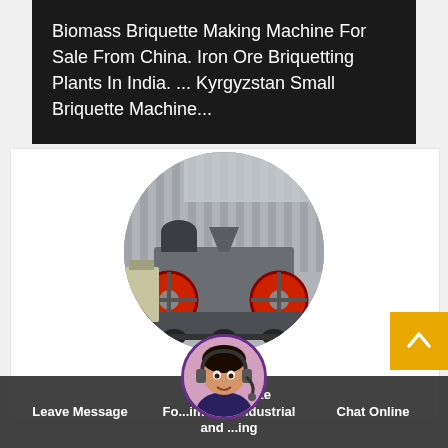Biomass Briquette Making Machine For Sale From China. Iron Ore Briquetting Plants In India. ... Kyrgyzstan Small Briquette Machine...
[Figure (photo): Circular cropped photo of an industrial iron ore briquetting machine with large red flywheels, gray metal frame, funnel/hopper, and conveyor components, photographed outdoors in front of a corrugated metal warehouse building.]
[Figure (photo): Small circular avatar of a female customer support agent wearing a headset, used for live chat widget.]
Iron briquette Fo... imurgh Industrial and ...ing
Leave Message
Chat Online